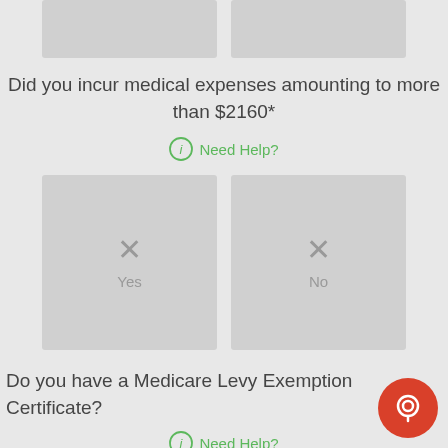[Figure (screenshot): Two partial grey button boxes at top, partially cropped]
Did you incur medical expenses amounting to more than $2160*
Need Help?
[Figure (other): Two grey selection boxes labeled Yes and No with X icons]
Do you have a Medicare Levy Exemption Certificate?
Need Help?
[Figure (other): Two partial grey button boxes at bottom, partially cropped]